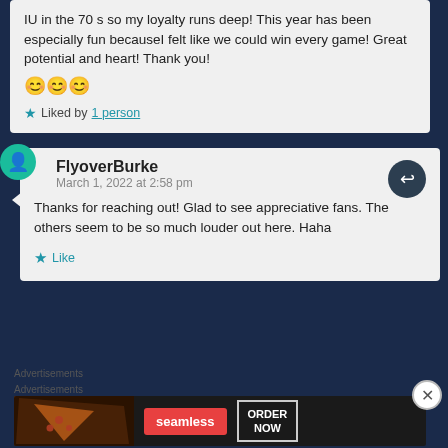IU in the 70 s so my loyalty runs deep! This year has been especially fun becauseI felt like we could win every game! Great potential and heart! Thank you! 😊😊😊
★ Liked by 1 person
FlyoverBurke
March 1, 2022 at 2:58 pm
Thanks for reaching out! Glad to see appreciative fans. The others seem to be so much louder out here. Haha
★ Like
Advertisements
Advertisements
[Figure (screenshot): Seamless food delivery advertisement banner with pizza image on left, red Seamless logo button in center, and 'ORDER NOW' button on right, on dark background]